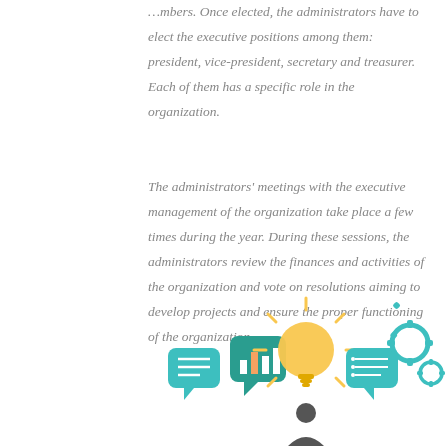…mbers. Once elected, the administrators have to elect the executive positions among them: president, vice-president, secretary and treasurer. Each of them has a specific role in the organization.
The administrators' meetings with the executive management of the organization take place a few times during the year. During these sessions, the administrators review the finances and activities of the organization and vote on resolutions aiming to develop projects and ensure the proper functioning of the organization.
[Figure (illustration): A colorful infographic illustration showing icons of speech bubbles with charts, a glowing lightbulb in the center, more speech bubbles, and gear icons, representing organizational meetings and management ideas.]